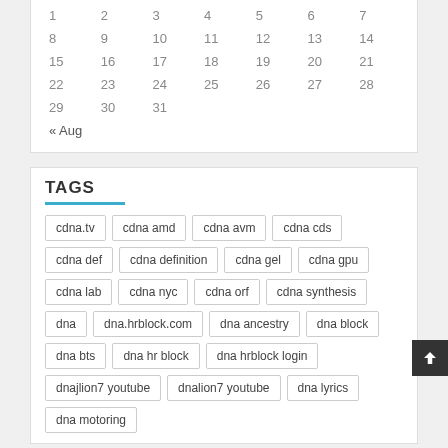| 1 | 2 | 3 | 4 | 5 | 6 | 7 |
| 8 | 9 | 10 | 11 | 12 | 13 | 14 |
| 15 | 16 | 17 | 18 | 19 | 20 | 21 |
| 22 | 23 | 24 | 25 | 26 | 27 | 28 |
| 29 | 30 | 31 |  |  |  |  |
« Aug
TAGS
cdna.tv
cdna amd
cdna avm
cdna cds
cdna def
cdna definition
cdna gel
cdna gpu
cdna lab
cdna nyc
cdna orf
cdna synthesis
dna
dna.hrblock.com
dna ancestry
dna block
dna bts
dna hr block
dna hrblock login
dnajlion7 youtube
dnalion7 youtube
dna lyrics
dna motoring